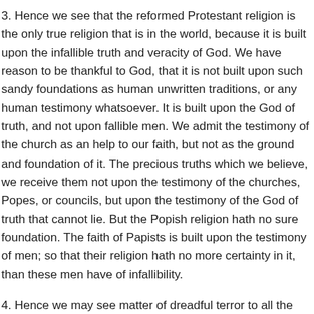3. Hence we see that the reformed Protestant religion is the only true religion that is in the world, because it is built upon the infallible truth and veracity of God. We have reason to be thankful to God, that it is not built upon such sandy foundations as human unwritten traditions, or any human testimony whatsoever. It is built upon the God of truth, and not upon fallible men. We admit the testimony of the church as an help to our faith, but not as the ground and foundation of it. The precious truths which we believe, we receive them not upon the testimony of the churches, Popes, or councils, but upon the testimony of the God of truth that cannot lie. But the Popish religion hath no sure foundation. The faith of Papists is built upon the testimony of men; so that their religion hath no more certainty in it, than these men have of infallibility.
4. Hence we may see matter of dreadful terror to all the